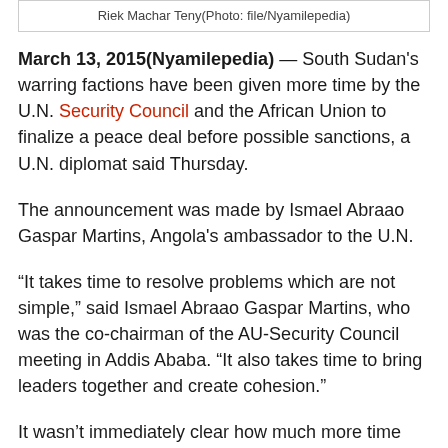Riek Machar Teny(Photo: file/Nyamilepedia)
March 13, 2015(Nyamilepedia) — South Sudan's warring factions have been given more time by the U.N. Security Council and the African Union to finalize a peace deal before possible sanctions, a U.N. diplomat said Thursday.
The announcement was made by Ismael Abraao Gaspar Martins, Angola's ambassador to the U.N.
“It takes time to resolve problems which are not simple,” said Ismael Abraao Gaspar Martins, who was the co-chairman of the AU-Security Council meeting in Addis Ababa. “It also takes time to bring leaders together and create cohesion.”
It wasn’t immediately clear how much more time they will have to negotiate. Last week, the U.N. Security Council